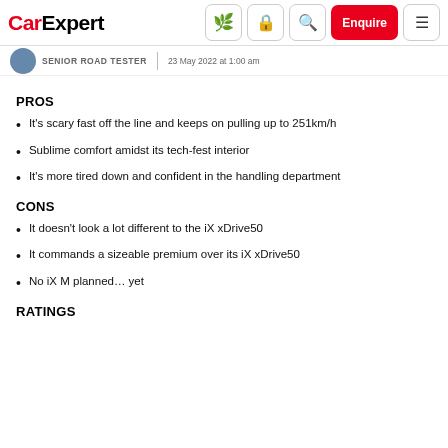CarExpert — navigation bar with logo, icons, Enquire button, and menu
SENIOR ROAD TESTER | 23 May 2022 at 1:00 am
PROS
It's scary fast off the line and keeps on pulling up to 251km/h
Sublime comfort amidst its tech-fest interior
It's more tired down and confident in the handling department
CONS
It doesn't look a lot different to the iX xDrive50
It commands a sizeable premium over its iX xDrive50
No iX M planned… yet
RATINGS